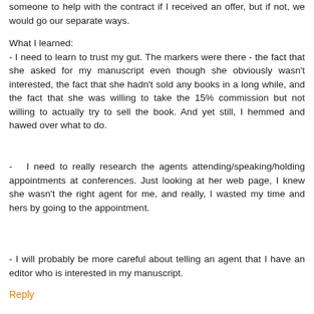someone to help with the contract if I received an offer, but if not, we would go our separate ways.
What I learned:
- I need to learn to trust my gut. The markers were there - the fact that she asked for my manuscript even though she obviously wasn't interested, the fact that she hadn't sold any books in a long while, and the fact that she was willing to take the 15% commission but not willing to actually try to sell the book. And yet still, I hemmed and hawed over what to do.
- I need to really research the agents attending/speaking/holding appointments at conferences. Just looking at her web page, I knew she wasn't the right agent for me, and really, I wasted my time and hers by going to the appointment.
- I will probably be more careful about telling an agent that I have an editor who is interested in my manuscript.
Reply